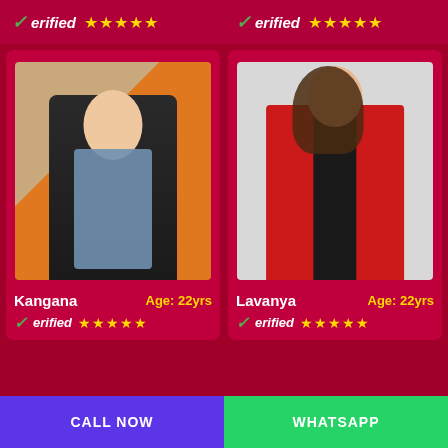[Figure (infographic): Top banner with two Verified badges and five gold stars each, on dark red background]
[Figure (photo): Photo of Kangana, young woman in denim jacket and black outfit, standing against orange background]
Kangana   Age: 22yrs
[Figure (infographic): Verified badge with green checkmark and five gold stars below Kangana photo]
[Figure (photo): Photo of Lavanya, young woman in red dress, standing against light background]
Lavanya   Age: 22yrs
[Figure (infographic): Verified badge with green checkmark and five gold stars below Lavanya photo]
CALL NOW
WHATSAPP